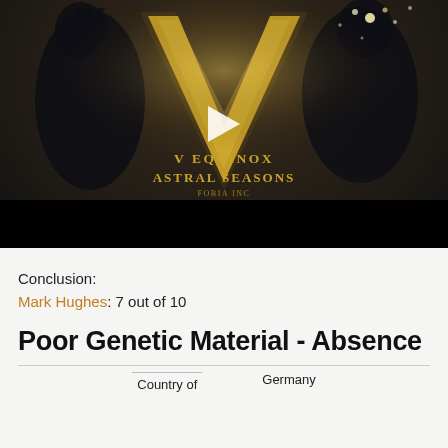[Figure (screenshot): Video thumbnail for 'V Equinox - Astral Seasons' by Fobia Inc, showing a large golden letter V with dark silhouetted figures on either side, bokeh light effects, a white play button in the center, and text at the bottom reading 'V EQUINOX / ASTRAL SEASONS / FOBIA INC']
Conclusion:
Mark Hughes: 7 out of 10
Poor Genetic Material - Absence
Country of
Germany